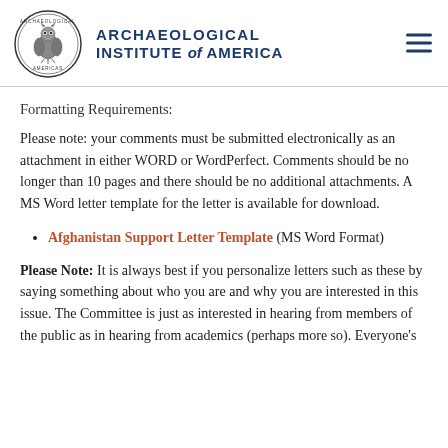Archaeological Institute of America
Formatting Requirements:
Please note: your comments must be submitted electronically as an attachment in either WORD or WordPerfect. Comments should be no longer than 10 pages and there should be no additional attachments. A MS Word letter template for the letter is available for download.
Afghanistan Support Letter Template (MS Word Format)
Please Note: It is always best if you personalize letters such as these by saying something about who you are and why you are interested in this issue. The Committee is just as interested in hearing from members of the public as in hearing from academics (perhaps more so). Everyone's